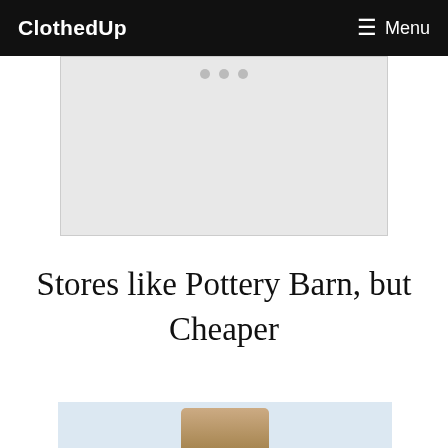ClothedUp   ☰ Menu
[Figure (other): Light gray placeholder image area with three dots at the top center, likely an advertisement or image carousel]
Stores like Pottery Barn, but Cheaper
[Figure (photo): Partial photo of a furry or textured item on a light blue background, partially visible at the bottom of the page]